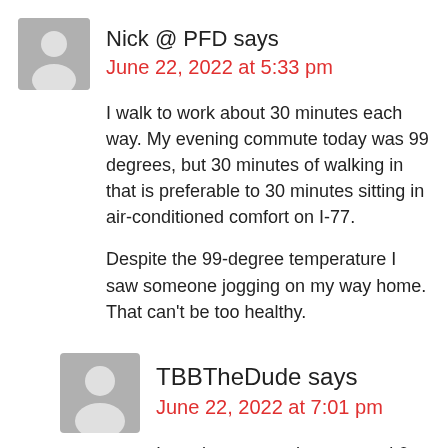Nick @ PFD says
June 22, 2022 at 5:33 pm
I walk to work about 30 minutes each way. My evening commute today was 99 degrees, but 30 minutes of walking in that is preferable to 30 minutes sitting in air-conditioned comfort on I-77.
Despite the 99-degree temperature I saw someone jogging on my way home. That can't be too healthy.
TBBTheDude says
June 22, 2022 at 7:01 pm
I need to get out there around 6 am these days!